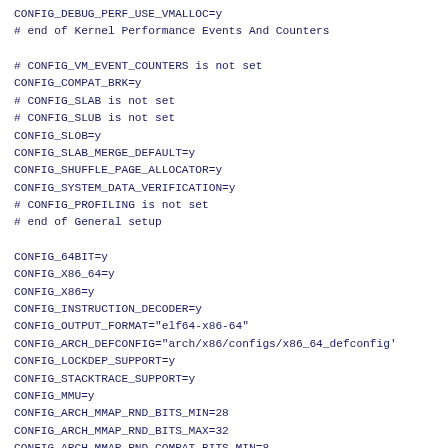CONFIG_DEBUG_PERF_USE_VMALLOC=y
# end of Kernel Performance Events And Counters

# CONFIG_VM_EVENT_COUNTERS is not set
CONFIG_COMPAT_BRK=y
# CONFIG_SLAB is not set
# CONFIG_SLUB is not set
CONFIG_SLOB=y
CONFIG_SLAB_MERGE_DEFAULT=y
CONFIG_SHUFFLE_PAGE_ALLOCATOR=y
CONFIG_SYSTEM_DATA_VERIFICATION=y
# CONFIG_PROFILING is not set
# end of General setup

CONFIG_64BIT=y
CONFIG_X86_64=y
CONFIG_X86=y
CONFIG_INSTRUCTION_DECODER=y
CONFIG_OUTPUT_FORMAT="elf64-x86-64"
CONFIG_ARCH_DEFCONFIG="arch/x86/configs/x86_64_defconfig"
CONFIG_LOCKDEP_SUPPORT=y
CONFIG_STACKTRACE_SUPPORT=y
CONFIG_MMU=y
CONFIG_ARCH_MMAP_RND_BITS_MIN=28
CONFIG_ARCH_MMAP_RND_BITS_MAX=32
CONFIG_ARCH_MMAP_RND_COMPAT_BITS_MIN=8
CONFIG_ARCH_MMAP_RND_COMPAT_BITS_MAX=16
CONFIG_GENERIC_CALIBRATE_DELAY=y
CONFIG_ARCH_HAS_CPU_RELAX=y
CONFIG_ARCH_HAS_CACHE_LINE_SIZE=y